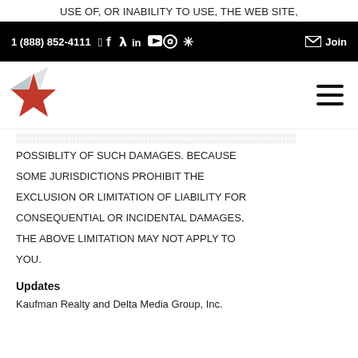USE OF, OR INABILITY TO USE, THE WEB SITE,
1 (888) 852-4111  [social icons]  Join
[Figure (logo): Kaufman Realty star logo with red star and gray wing shapes, and hamburger menu icon on the right]
POSSIBLITY OF SUCH DAMAGES. BECAUSE SOME JURISDICTIONS PROHIBIT THE EXCLUSION OR LIMITATION OF LIABILITY FOR CONSEQUENTIAL OR INCIDENTAL DAMAGES, THE ABOVE LIMITATION MAY NOT APPLY TO YOU.
Updates
Kaufman Realty and Delta Media Group, Inc.